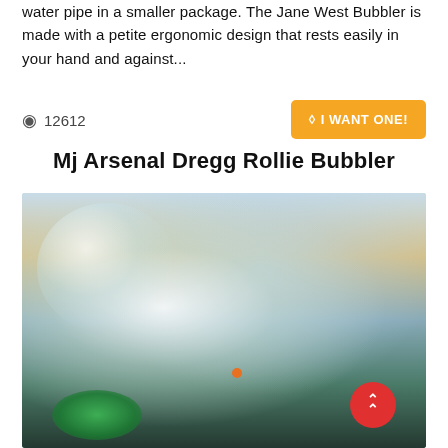water pipe in a smaller package. The Jane West Bubbler is made with a petite ergonomic design that rests easily in your hand and against...
👁 12612
🔖 I WANT ONE!
Mj Arsenal Dregg Rollie Bubbler
[Figure (photo): A close-up photo of a round glass bubbler being held by a hand, with a banger/nail attached on the right side. The glass has a textured, bumpy surface with green glass accents at the bottom. Photographed outdoors at sunset/dusk with a cityscape in the background.]